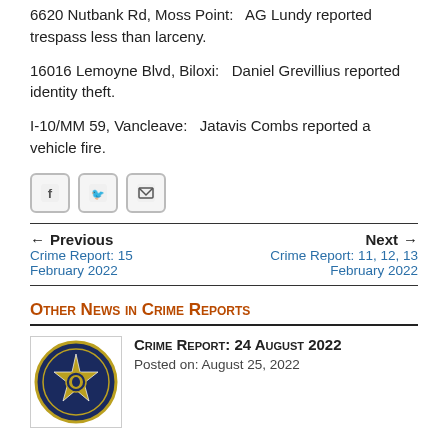6620 Nutbank Rd, Moss Point:   AG Lundy reported trespass less than larceny.
16016 Lemoyne Blvd, Biloxi:   Daniel Grevillius reported identity theft.
I-10/MM 59, Vancleave:   Jatavis Combs reported a vehicle fire.
[Figure (other): Social sharing buttons: Facebook, Twitter, Email]
Previous: Crime Report: 15 February 2022 | Next: Crime Report: 11, 12, 13 February 2022
Other News in Crime Reports
[Figure (logo): Sheriff department seal/badge logo]
Crime Report: 24 August 2022
Posted on: August 25, 2022